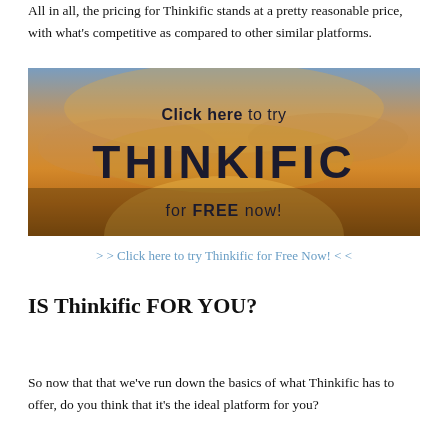All in all, the pricing for Thinkific stands at a pretty reasonable price, with what's competitive as compared to other similar platforms.
[Figure (illustration): Banner image with a sunset sky background. Text reads 'Click here to try THINKIFIC for FREE now!' with 'Click here' in bold and 'THINKIFIC' in large dark letters.]
> > Click here to try Thinkific for Free Now! < <
IS Thinkific FOR YOU?
So now that that we've run down the basics of what Thinkific has to offer, do you think that it's the ideal platform for you?